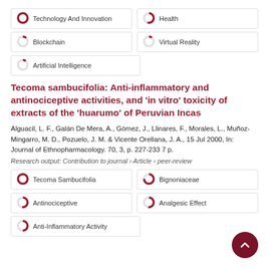[Figure (infographic): Keyword badge: Technology And Innovation with ~100% filled donut icon]
[Figure (infographic): Keyword badge: Health with ~55% filled donut icon]
[Figure (infographic): Keyword badge: Blockchain with ~12% filled donut icon]
[Figure (infographic): Keyword badge: Virtual Reality with ~10% filled donut icon]
[Figure (infographic): Keyword badge: Artificial Intelligence with ~10% filled donut icon]
Tecoma sambucifolia: Anti-inflammatory and antinociceptive activities, and 'in vitro' toxicity of extracts of the 'huarumo' of Peruvian Incas
Alguacil, L. F., Galán De Mera, A., Gómez, J., Llinares, F., Morales, L., Muñoz-Mingarro, M. D., Pozuelo, J. M. & Vicente Orellana, J. A., 15 Jul 2000, In: Journal of Ethnopharmacology. 70, 3, p. 227-233 7 p.
Research output: Contribution to journal › Article › peer-review
[Figure (infographic): Keyword badge: Tecoma Sambucifolia with ~100% filled donut icon]
[Figure (infographic): Keyword badge: Bignoniaceae with ~75% filled donut icon]
[Figure (infographic): Keyword badge: Antinociceptive with ~52% filled donut icon]
[Figure (infographic): Keyword badge: Analgesic Effect with ~52% filled donut icon]
[Figure (infographic): Keyword badge: Anti-Inflammatory Activity with ~50% filled donut icon]